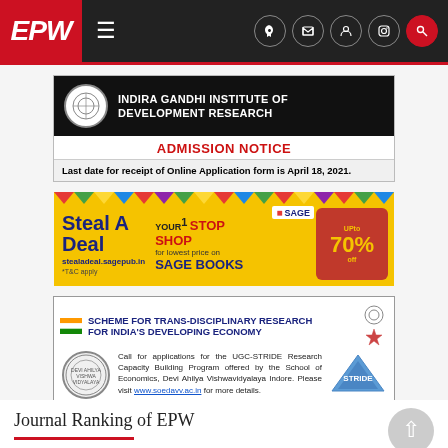EPW — Economic & Political Weekly navigation bar
[Figure (illustration): INDIRA GANDHI INSTITUTE OF DEVELOPMENT RESEARCH admission notice banner. Black header with institution logo and name. Red text: ADMISSION NOTICE. Bold text: Last date for receipt of Online Application form is April 18, 2021.]
[Figure (illustration): SAGE Publishing Steal A Deal advertisement. Yellow background with colorful bunting. Large text: Steal A Deal. stealadeal.sagepub.com. YOUR 1 STOP SHOP for lowest price on SAGE BOOKS. Orange panel showing 70% off. *T&C apply.]
[Figure (illustration): SCHEME FOR TRANS-DISCIPLINARY RESEARCH FOR INDIA'S DEVELOPING ECONOMY (STRIDE) advertisement. Call for applications for the UGC-STRIDE Research Capacity Building Program offered by the School of Economics, Devi Ahilya Vishwavidyalaya Indore. Please visit www.soedavv.ac.in for more details.]
Journal Ranking of EPW